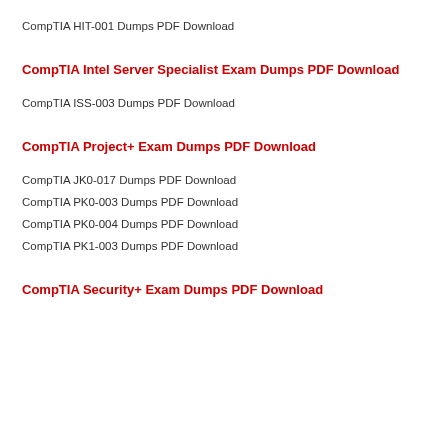CompTIA HIT-001 Dumps PDF Download
CompTIA Intel Server Specialist Exam Dumps PDF Download
CompTIA ISS-003 Dumps PDF Download
CompTIA Project+ Exam Dumps PDF Download
CompTIA JK0-017 Dumps PDF Download
CompTIA PK0-003 Dumps PDF Download
CompTIA PK0-004 Dumps PDF Download
CompTIA PK1-003 Dumps PDF Download
CompTIA Security+ Exam Dumps PDF Download